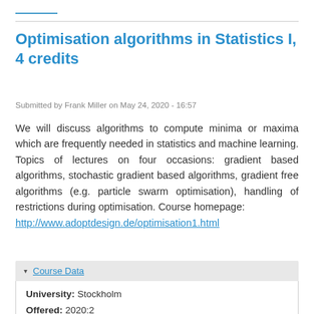Optimisation algorithms in Statistics I, 4 credits
Submitted by Frank Miller on May 24, 2020 - 16:57
We will discuss algorithms to compute minima or maxima which are frequently needed in statistics and machine learning. Topics of lectures on four occasions: gradient based algorithms, stochastic gradient based algorithms, gradient free algorithms (e.g. particle swarm optimisation), handling of restrictions during optimisation. Course homepage: http://www.adoptdesign.de/optimisation1.html
Course Data
University: Stockholm
Offered: 2020:2
Level: PhD